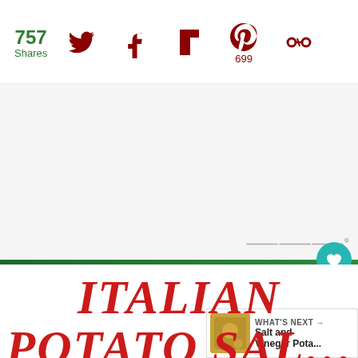757 Shares — social sharing bar with Twitter, Facebook, Flipboard, Pinterest (699), and another icon
[Figure (screenshot): White/light gray advertisement placeholder area with Moat logo watermark in bottom right corner]
ITALIAN POTATO SAL...
recipes by Whats Cookin Italian Style Cuisine.com
[Figure (screenshot): Bottom advertisement banner showing 'Thank you!' with nurses and 'Operation Gratitude' logo]